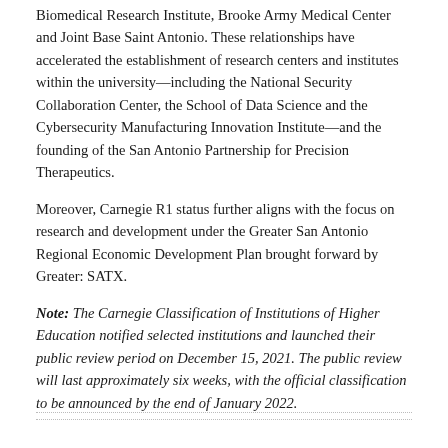Biomedical Research Institute, Brooke Army Medical Center and Joint Base Saint Antonio. These relationships have accelerated the establishment of research centers and institutes within the university—including the National Security Collaboration Center, the School of Data Science and the Cybersecurity Manufacturing Innovation Institute—and the founding of the San Antonio Partnership for Precision Therapeutics.
Moreover, Carnegie R1 status further aligns with the focus on research and development under the Greater San Antonio Regional Economic Development Plan brought forward by Greater: SATX.
Note: The Carnegie Classification of Institutions of Higher Education notified selected institutions and launched their public review period on December 15, 2021. The public review will last approximately six weeks, with the official classification to be announced by the end of January 2022.